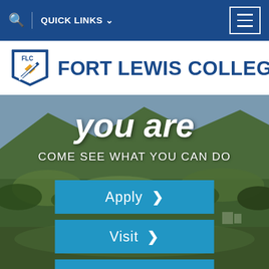QUICK LINKS
[Figure (logo): Fort Lewis College logo with FLC shield and diagonal stripe, beside text FORT LEWIS COLLEGE.]
you are
COME SEE WHAT YOU CAN DO
Apply >
Visit >
Get Info >